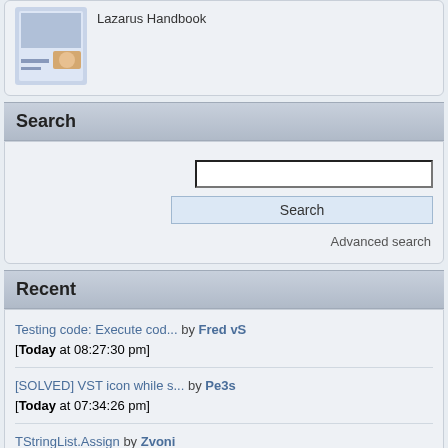[Figure (other): Book cover image for Lazarus Handbook with text label]
Search
Search input field
Search button
Advanced search
Recent
Testing code: Execute cod... by Fred vS [Today at 08:27:30 pm]
[SOLVED] VST icon while s... by Pe3s [Today at 07:34:26 pm]
TStringList.Assign by Zvoni [Today at 07:02:18 pm]
Opendocument (libreoffice... by cpalx [Today at 06:44:33 pm]
Strict Constant Parameter by Thaddy